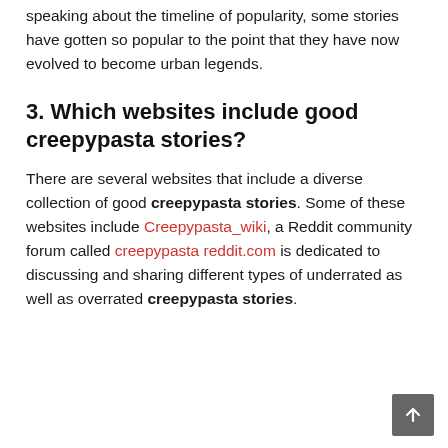speaking about the timeline of popularity, some stories have gotten so popular to the point that they have now evolved to become urban legends.
3. Which websites include good creepypasta stories?
There are several websites that include a diverse collection of good creepypasta stories. Some of these websites include Creepypasta_wiki, a Reddit community forum called creepypasta reddit.com is dedicated to discussing and sharing different types of underrated as well as overrated creepypasta stories.